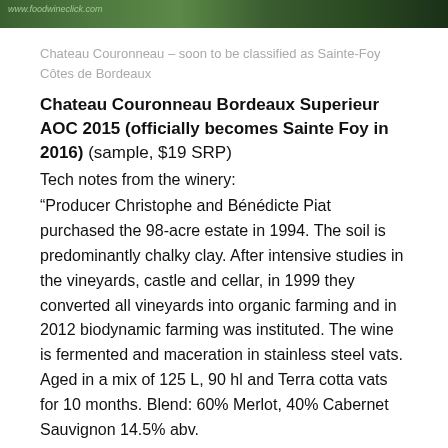[Figure (photo): Top strip of a wine bottle photo with green/dark tones, URL overlay showing www.foodwineclick.com]
Chateau Couronneau – soon to be classified as Sainte-Foy Côtes de Bordeaux
Chateau Couronneau Bordeaux Superieur AOC 2015 (officially becomes Sainte Foy in 2016) (sample, $19 SRP)
Tech notes from the winery:
“Producer Christophe and Bénédicte Piat purchased the 98-acre estate in 1994. The soil is predominantly chalky clay. After intensive studies in the vineyards, castle and cellar, in 1999 they converted all vineyards into organic farming and in 2012 biodynamic farming was instituted. The wine is fermented and maceration in stainless steel vats. Aged in a mix of 125 L, 90 hl and Terra cotta vats for 10 months. Blend: 60% Merlot, 40% Cabernet Sauvignon 14.5% abv.